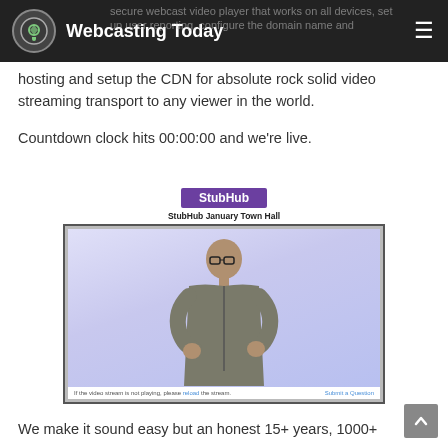Webcasting Today
secure webcast video player that works on all devices, set up user reporting, configure the domain name and hosting and setup the CDN for absolute rock solid video streaming transport to any viewer in the world.
Countdown clock hits 00:00:00 and we're live.
[Figure (screenshot): Screenshot of StubHub January Town Hall webcast player showing a man presenting in front of a light purple background, with StubHub purple logo badge above and 'StubHub January Town Hall' title, a 'Submit a Question' link, and a note about the video stream.]
We make it sound easy but an honest 15+ years, 1000+